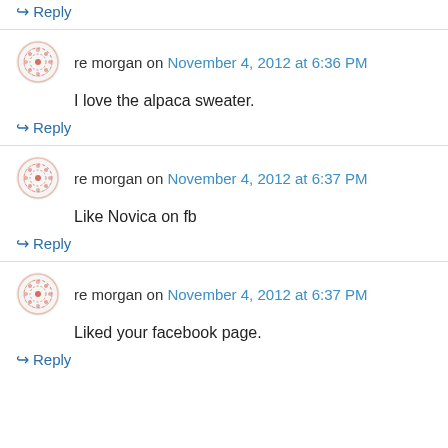↪ Reply
re morgan on November 4, 2012 at 6:36 PM
I love the alpaca sweater.
↪ Reply
re morgan on November 4, 2012 at 6:37 PM
Like Novica on fb
↪ Reply
re morgan on November 4, 2012 at 6:37 PM
Liked your facebook page.
↪ Reply